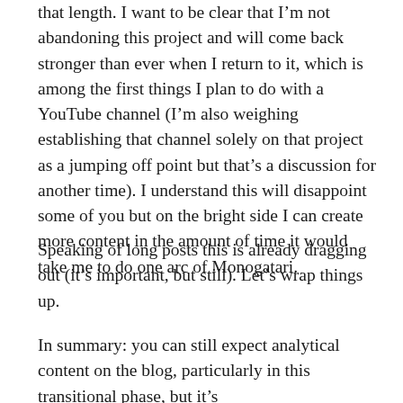that length. I want to be clear that I'm not abandoning this project and will come back stronger than ever when I return to it, which is among the first things I plan to do with a YouTube channel (I'm also weighing establishing that channel solely on that project as a jumping off point but that's a discussion for another time). I understand this will disappoint some of you but on the bright side I can create more content in the amount of time it would take me to do one arc of Monogatari.
Speaking of long posts this is already dragging out (it's important, but still). Let's wrap things up.
In summary: you can still expect analytical content on the blog, particularly in this transitional phase, but it's